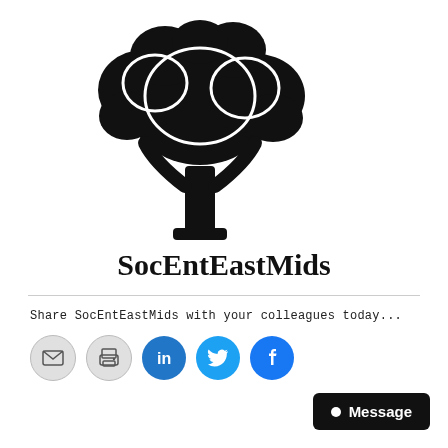[Figure (logo): Black silhouette tree logo (SocEntEastMids)]
SocEntEastMids
Share SocEntEastMids with your colleagues today...
[Figure (infographic): Row of social sharing icon buttons: email, print, LinkedIn, Twitter, Facebook]
Message